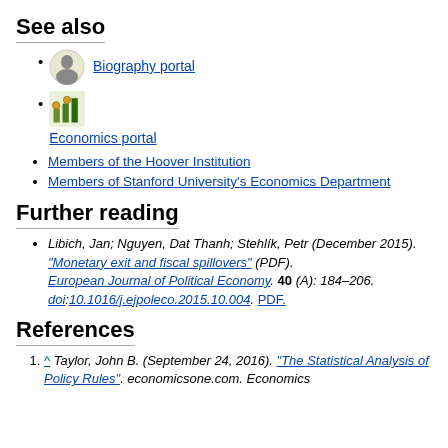See also
Biography portal
Economics portal
Members of the Hoover Institution
Members of Stanford University's Economics Department
Further reading
Libich, Jan; Nguyen, Dat Thanh; Stehlík, Petr (December 2015). "Monetary exit and fiscal spillovers" (PDF). European Journal of Political Economy. 40 (A): 184–206. doi:10.1016/j.ejpoleco.2015.10.004. PDF.
References
^ Taylor, John B. (September 24, 2016). "The Statistical Analysis of Policy Rules". economicsone.com. Economics